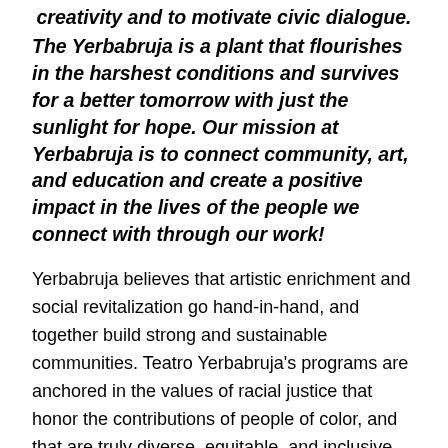creativity and to motivate civic dialogue.
The Yerbabruja is a plant that flourishes in the harshest conditions and survives for a better tomorrow with just the sunlight for hope. Our mission at Yerbabruja is to connect community, art, and education and create a positive impact in the lives of the people we connect with through our work!
Yerbabruja believes that artistic enrichment and social revitalization go hand-in-hand, and together build strong and sustainable communities. Teatro Yerbabruja's programs are anchored in the values of racial justice that honor the contributions of people of color, and that are truly diverse, equitable, and inclusive. We understand that definitions of art, culture, and creativity depend on the cultural values, preferences, and realities of residents and other stakeholders in a given community.